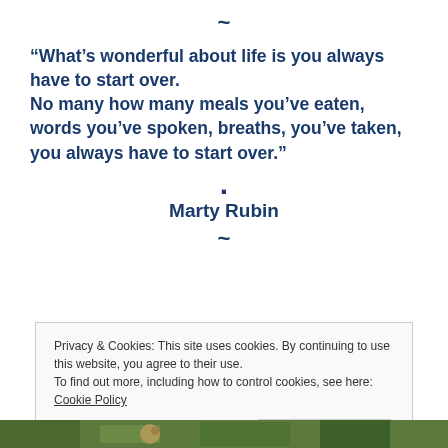~
“What’s wonderful about life is you always have to start over.
No many how many meals you’ve eaten, words you’ve spoken, breaths, you’ve taken, you always have to start over.”
.
Marty Rubin
~
Privacy & Cookies: This site uses cookies. By continuing to use this website, you agree to their use.
To find out more, including how to control cookies, see here: Cookie Policy
[Figure (photo): Strip of a nature/wildlife photograph at the bottom of the page, showing green foliage and possibly an animal face.]